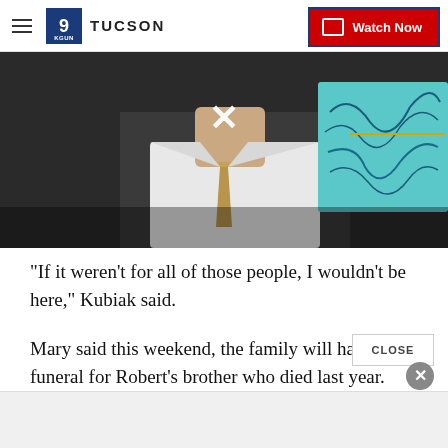9 TUCSON | Watch Now
[Figure (screenshot): Video thumbnail showing a man in a white lab coat and patterned tie, with a medical imaging screen visible on the right. A white X close button is overlaid on the center of the video.]
"If it weren't for all of those people, I wouldn't be here," Kubiak said.
Mary said this weekend, the family will have a funeral for Robert's brother who died last year.
"My brother, Orval, was also a pilot during World